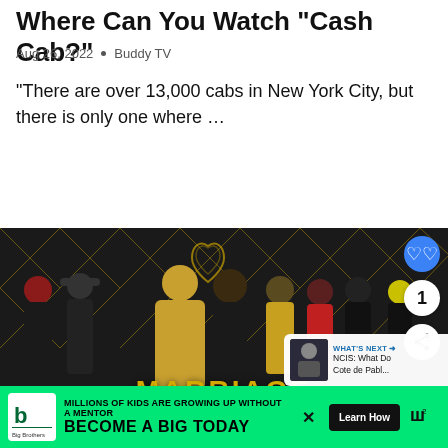Where Can You Watch "Cash Cab?"
Aug 26, 2022 • Buddy TV
"There are over 13,000 cabs in New York City, but there is only one where …
[Figure (photo): Promotional image for a TV show titled 'Marriage' (likely Marriage Boot Camp or similar), showing a group of people posed against a dark gold geometric art deco background. There is a heart like button, a count badge showing '1', and a share button overlay. A 'What's Next' panel in the lower right shows a thumbnail and text: 'NCIS: What Do Cote de Pabl...']
[Figure (photo): Advertisement banner for Big Brothers Big Sisters of America. Green background with text: 'MILLIONS OF KIDS ARE GROWING UP WITHOUT A MENTOR. BECOME A BIG TODAY' with a 'Learn How' button.]